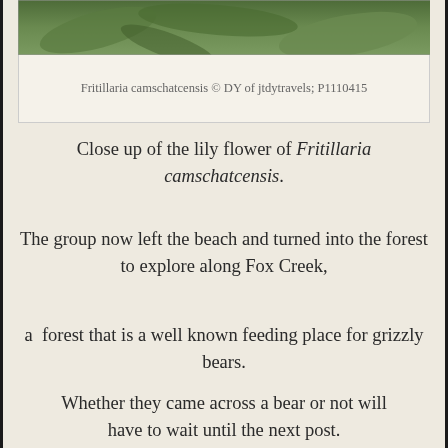[Figure (photo): Top portion of a photo showing green foliage/leaves, partially cropped at the top of the page]
Fritillaria camschatcensis © DY of jtdytravels; P1110415
Close up of the lily flower of Fritillaria camschatcensis.
The group now left the beach and turned into the forest to explore along Fox Creek,
a  forest that is a well known feeding place for grizzly bears.
Whether they came across a bear or not will have to wait until the next post.
Jennie and David
All photographs copyright © JT  and DY  of